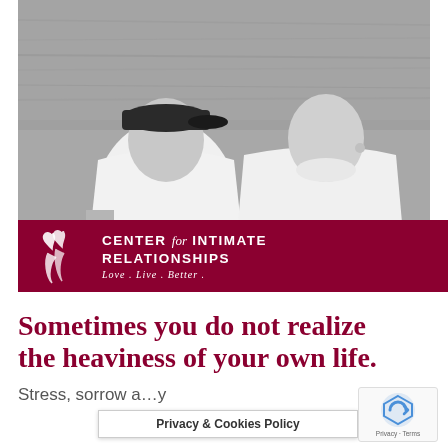[Figure (photo): Black and white photo of two people sitting side by side with their backs to the camera, near a body of water. One person wears a baseball cap and has tattoos visible on their arm.]
[Figure (logo): Center for Intimate Relationships logo on dark red/maroon banner. Features two stylized heart figures and text 'CENTER for INTIMATE RELATIONSHIPS' with tagline 'Love. Live. Better.']
Sometimes you do not realize the heaviness of your own life.
Stress, sorrow a...y
Privacy & Cookies Policy